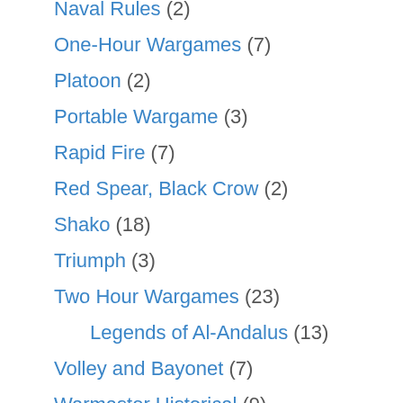Naval Rules (2)
One-Hour Wargames (7)
Platoon (2)
Portable Wargame (3)
Rapid Fire (7)
Red Spear, Black Crow (2)
Shako (18)
Triumph (3)
Two Hour Wargames (23)
Legends of Al-Andalus (13)
Volley and Bayonet (7)
Warmaster Historical (9)
Scenario Books (6)
Solo Wargames (5)